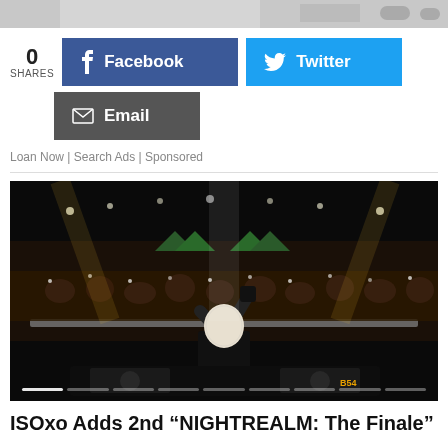[Figure (photo): Top cropped image strip showing partial view of a product/scene, gray/light colored]
0 SHARES
[Figure (infographic): Facebook share button (blue) and Twitter share button (cyan)]
[Figure (infographic): Email share button (dark gray)]
Loan Now | Search Ads | Sponsored
[Figure (photo): Concert photo: DJ in white mask performing at a large outdoor festival with massive crowd, bright stage lights, nighttime setting. Progress bar at bottom.]
ISOxo Adds 2nd “NIGHTREALM: The Finale”